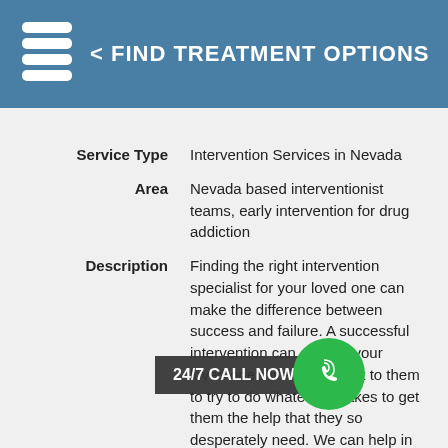< FIND TREATMENT OPTIONS
| Service Type | Intervention Services in Nevada |
| Area | Nevada based interventionist teams, early intervention for drug addiction |
| Description | Finding the right intervention specialist for your loved one can make the difference between success and failure. A successful intervention can change your loved one's life. You owe it to them to try to do whatever it takes to get them the help that they so desperately need. We can help in starting an intervention to get them into the right rehab for an addiction to drugs or alcohol. |
24/7 CALL NOW